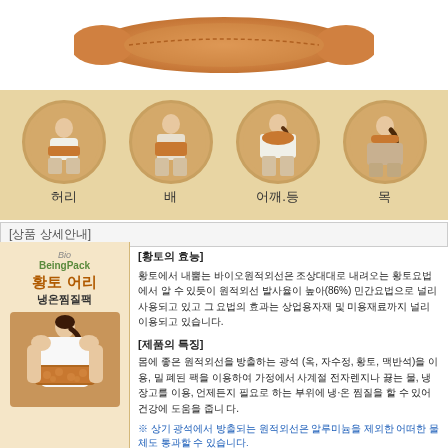[Figure (photo): Orange/tan colored waist heating pack product shown from above on white background]
[Figure (illustration): Four circular usage illustrations on beige background showing body areas: 허리 (waist), 배 (abdomen), 어깨/등 (shoulder/back), 목 (neck)]
[상품 상세안내]
[Figure (photo): Left panel showing BioBeingPack 황토 어리 냉온찜질팩 product label and a woman wearing the pack on her back/waist]
[황토의 효능]
황토에서 내뿜는 바이오원적외선은 조상대대로 내려오는 황토요법에서 알 수 있듯이 원적외선 발사율이 높아(86%) 민간요법으로 널리 사용되고 있고 그 요법의 효과는 상업용자재 및 미용재료까지 널리 이용되고 있습니다.
[제품의 특징]
몸에 좋은 원적외선을 방출하는 광석 (옥, 자수정, 황토, 맥반석)을 이용, 밀 폐된 팩을 이용하여 가정에서 사계절 전자렌지나 끓는 물, 냉장고를 이용, 언제든지 필요로 하는 부위에 냉·온 찜질을 할 수 있어 건강에 도움을 줍니 다.
※ 상기 광석에서 방출되는 원적외선은 알루미늄을 제외한 어떠한 물체도 통과할 수 있습니다.
※ 밀폐된 팩에 열을 가하였을 시 광석에서 방출되는 원적외선은 2-3배 증가하게 됩니다.
[사용방법]